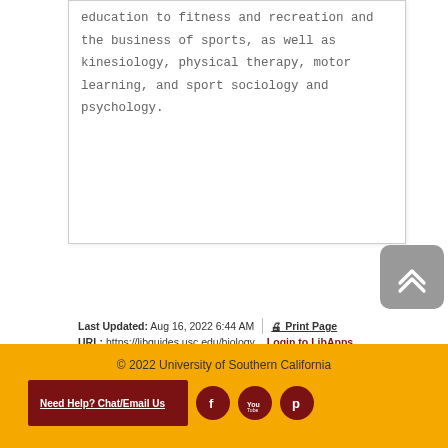education to fitness and recreation and the business of sports, as well as kinesiology, physical therapy, motor learning, and sport sociology and psychology.
Last Updated: Aug 16, 2022 6:44 AM | URL: https://libguides.usc.edu/biology | Print Page Login to LibApps.
Subjects: Biological & Life Sciences
© 2022 University of Southern California
Need Help? Chat/Email Us